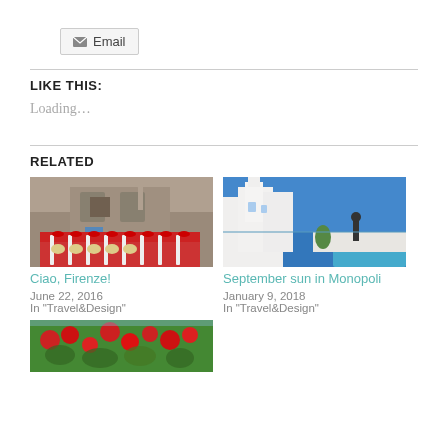Email (button)
LIKE THIS:
Loading...
RELATED
[Figure (photo): Drummers in red and white costumes marching in a plaza with a statue in the background, Florence]
Ciao, Firenze!
June 22, 2016
In "Travel&Design"
[Figure (photo): White-washed buildings with a bright blue sea in the background, Monopoli]
September sun in Monopoli
January 9, 2018
In "Travel&Design"
[Figure (photo): Red flowers and greenery on a terrace or garden]